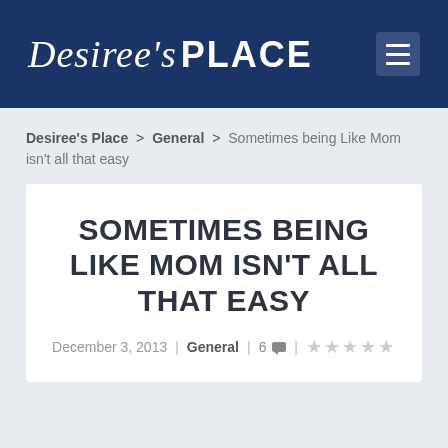Desiree's PLACE
Desiree's Place > General > Sometimes being Like Mom isn't all that easy
SOMETIMES BEING LIKE MOM ISN'T ALL THAT EASY
December 3, 2013 | General | 6 | ★★★★★